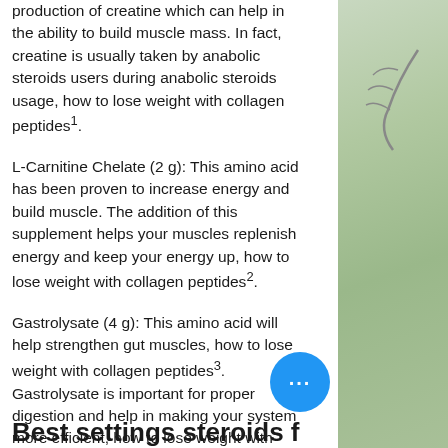production of creatine which can help in the ability to build muscle mass. In fact, creatine is usually taken by anabolic steroids users during anabolic steroids usage, how to lose weight with collagen peptides1.
L-Carnitine Chelate (2 g): This amino acid has been proven to increase energy and build muscle. The addition of this supplement helps your muscles replenish energy and keep your energy up, how to lose weight with collagen peptides2.
Gastrolysate (4 g): This amino acid will help strengthen gut muscles, how to lose weight with collagen peptides3. Gastrolysate is important for proper digestion and help in making your system more efficient, how to lose weight with collagen peptides4.
[Figure (photo): Green plant/twig background on the right side of the page]
Best settings steroids f...